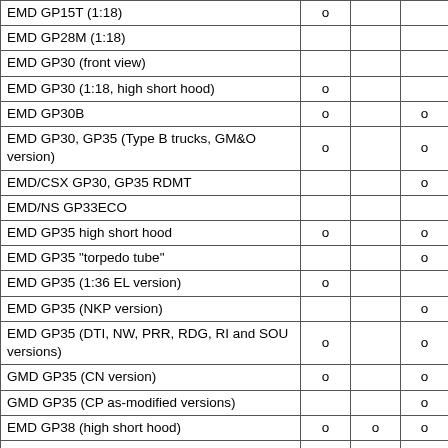|  |  |  |  |
| --- | --- | --- | --- |
| EMD GP15T (1:18) | o |  |  |
| EMD GP28M (1:18) |  |  |  |
| EMD GP30 (front view) |  |  |  |
| EMD GP30 (1:18, high short hood) | o |  |  |
| EMD GP30B | o |  | o |
| EMD GP30, GP35 (Type B trucks, GM&O version) | o |  | o |
| EMD/CSX GP30, GP35 RDMT |  |  | o |
| EMD/NS GP33ECO |  |  |  |
| EMD GP35 high short hood | o |  | o |
| EMD GP35 "torpedo tube" |  |  | o |
| EMD GP35 (1:36 EL version) | o |  |  |
| EMD GP35 (NKP version) |  |  | o |
| EMD GP35 (DTI, NW, PRR, RDG, RI and SOU versions) | o |  | o |
| GMD GP35 (CN version) | o |  | o |
| GMD GP35 (CP as-modified versions) |  |  | o |
| EMD GP38 (high short hood) | o | o | o |
| EMD GP38 (MEC 251-263) | o | o | o |
| EMD GP38 (1:18 LN versions) | o |  |  |
| EMD GP38 (1:18 PC versions) | o |  |  |
| EMD GP38-2 series (1:36 versions) |  | o |  |
| EMD GP38-2 (steam generator) |  |  | o |
| EMD GP38-2 (BN, LN, LV, PW, and RI 1:36... |  |  |  |